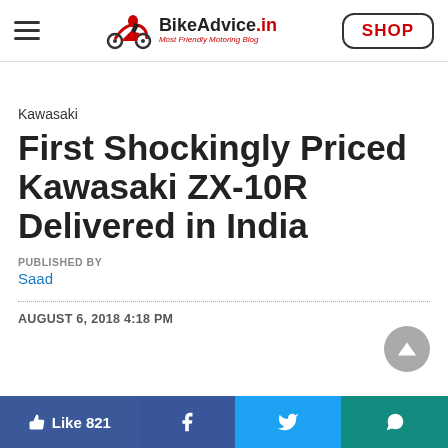BikeAdvice.in — Most Friendly Motoring Blog | SHOP
Kawasaki
First Shockingly Priced Kawasaki ZX-10R Delivered in India
PUBLISHED BY
Saad
AUGUST 6, 2018 4:18 PM